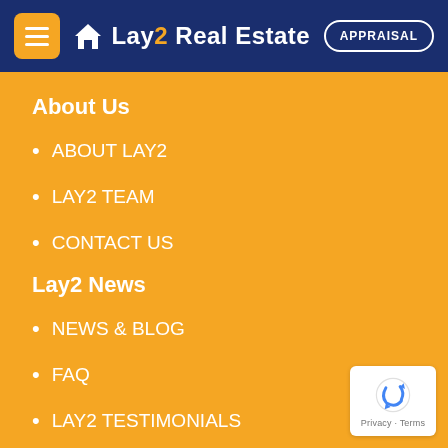Lay2 Real Estate — APPRAISAL
About Us
ABOUT LAY2
LAY2 TEAM
CONTACT US
Lay2 News
NEWS & BLOG
FAQ
LAY2 TESTIMONIALS
[Figure (logo): reCAPTCHA badge with Privacy and Terms links]